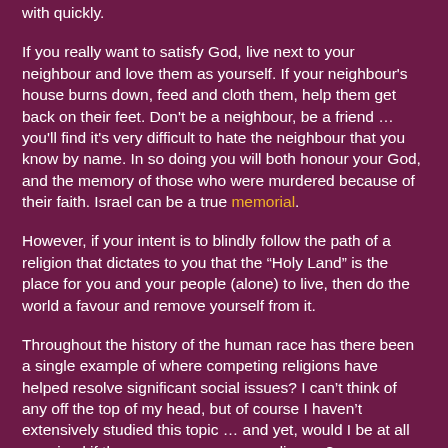with quickly.
If you really want to satisfy God, live next to your neighbour and love them as yourself. If your neighbour's house burns down, feed and cloth them, help them get back on their feet. Don't be a neighbour, be a friend ... you'll find it's very difficult to hate the neighbour that you know by name. In so doing you will both honour your God, and the memory of those who were murdered because of their faith. Israel can be a true memorial.
However, if your intent is to blindly follow the path of a religion that dictates to you that the “Holy Land” is the place for you and your people (alone) to live, then do the world a favour and remove yourself from it.
Throughout the history of the human race has there been a single example of where competing religions have helped resolve significant social issues? I can’t think of any off the top of my head, but of course I haven’t extensively studied this topic … and yet, would I be at all surprised if the answer was a resounding no?